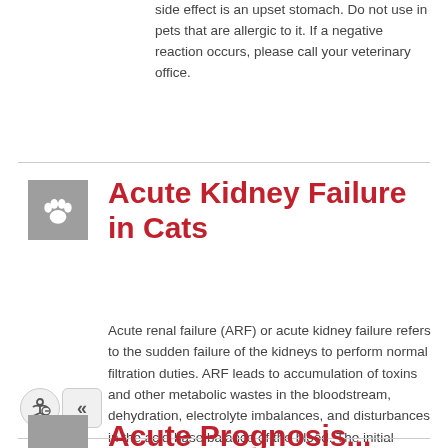side effect is an upset stomach. Do not use in pets that are allergic to it. If a negative reaction occurs, please call your veterinary office.
Acute Kidney Failure in Cats
Acute renal failure (ARF) or acute kidney failure refers to the sudden failure of the kidneys to perform normal filtration duties. ARF leads to accumulation of toxins and other metabolic wastes in the bloodstream, dehydration, electrolyte imbalances, and disturbances in the acid-base balance of the blood. The initial prognosis is guarded for all cases of ARF. If the cause is an infection, there is a better prognosis than if the cause is a toxic substance.